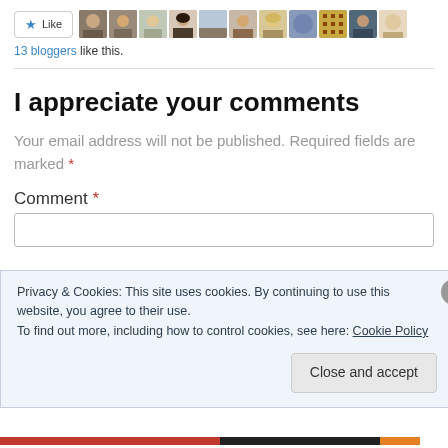[Figure (screenshot): Like button with star icon and a strip of 11 blogger avatar thumbnails]
13 bloggers like this.
I appreciate your comments
Your email address will not be published. Required fields are marked *
Comment *
Privacy & Cookies: This site uses cookies. By continuing to use this website, you agree to their use.
To find out more, including how to control cookies, see here: Cookie Policy
Close and accept